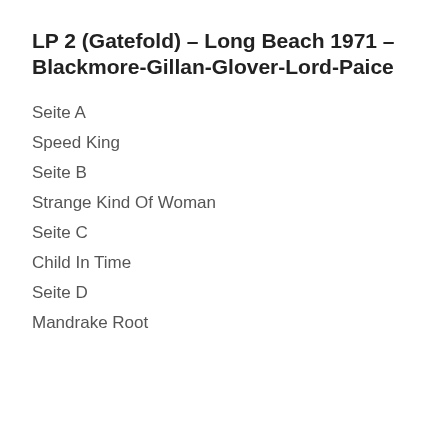LP 2 (Gatefold) – Long Beach 1971 – Blackmore-Gillan-Glover-Lord-Paice
Seite A
Speed King
Seite B
Strange Kind Of Woman
Seite C
Child In Time
Seite D
Mandrake Root